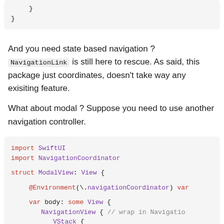[Figure (screenshot): Code block showing closing braces: closing brace on one line, closing brace on next line]
And you need state based navigation ? NavigationLink is still here to rescue. As said, this package just coordinates, doesn't take way any exisiting feature.
What about modal ? Suppose you need to use another navigation controller.
[Figure (screenshot): Swift code block: import SwiftUI, import NavigationCoordinator, struct ModalView: View {, @Environment(\.navigationCoordinator) var, var body: some View {, NavigationView { // wrap in Navigation, VStack {]